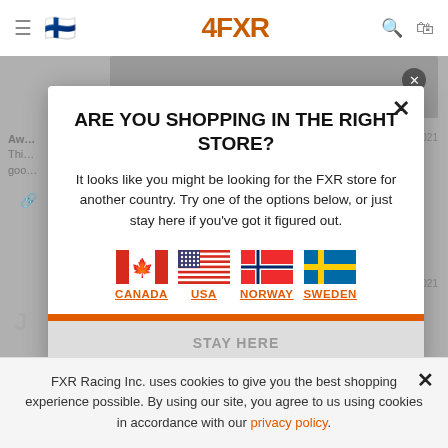[Figure (screenshot): Background of FXR Racing website with navigation bar, logo, and partially visible blog post content, grayed out behind modal overlay]
ARE YOU SHOPPING IN THE RIGHT STORE?
It looks like you might be looking for the FXR store for another country. Try one of the options below, or just stay here if you've got it figured out.
[Figure (infographic): Four country flag icons with labels: CANADA, USA, NORWAY, SWEDEN — each flag shown as inline SVG with country name link below in orange underlined text]
FXR Racing Inc. uses cookies to give you the best shopping experience possible. By using our site, you agree to us using cookies in accordance with our privacy policy.